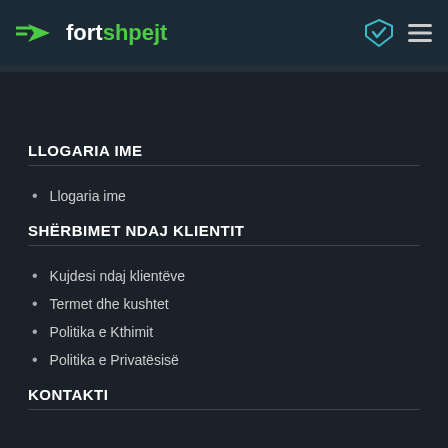fort shpejt
LLOGARIA IME
Llogaria ime
SHËRBIMET NDAJ KLIENTIT
Kujdesi ndaj klientëve
Termet dhe kushtet
Politika e Kthimit
Politika e Privatësisë
KONTAKTI